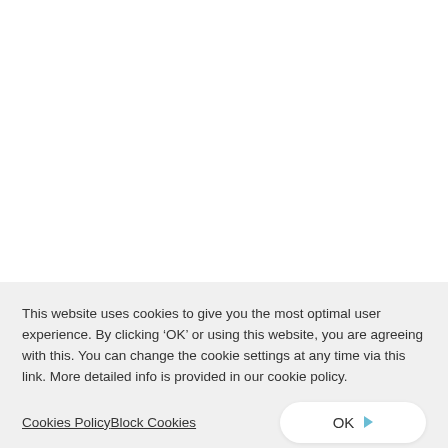This website uses cookies to give you the most optimal user experience. By clicking ‘OK’ or using this website, you are agreeing with this. You can change the cookie settings at any time via this link. More detailed info is provided in our cookie policy.
Cookies PolicyBlock Cookies